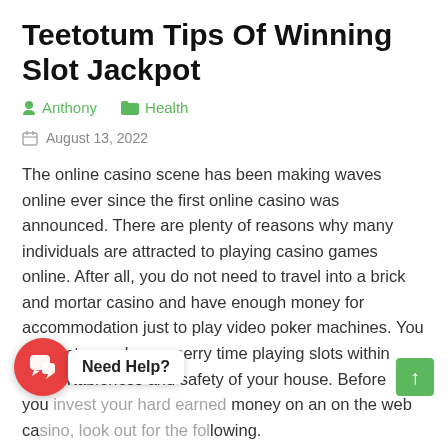Teetotum Tips Of Winning Slot Jackpot
Anthony   Health
August 13, 2022
The online casino scene has been making waves online ever since the first online casino was announced. There are plenty of reasons why many individuals are attracted to playing casino games online. After all, you do not need to travel into a brick and mortar casino and have enough money for accommodation just to play video poker machines. You can just spend your merry time playing slots within comfortableness and safety of your house. Before you invest your hard earned money on an on the web casino, look out for the following.
With an identity like that, you can be certain that this casino